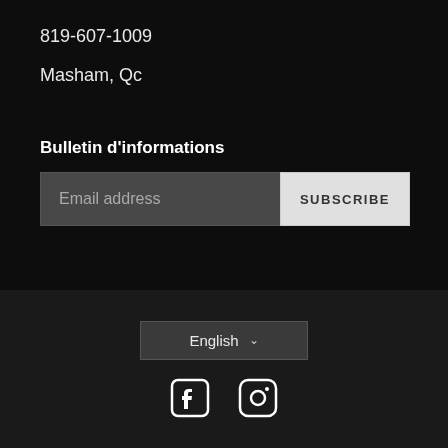819-607-1009
Masham, Qc
Bulletin d'informations
Email address
SUBSCRIBE
English
[Figure (illustration): Facebook and Instagram social media icons in white on dark background]